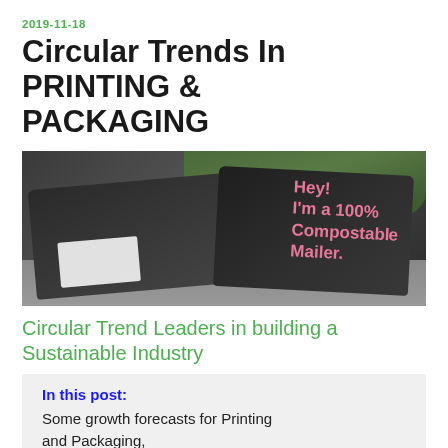2019-11-18
Circular Trends In PRINTING & PACKAGING
[Figure (photo): Two dark/black compostable mailer bags on a concrete surface with green foliage in the background. The bag on the right reads 'Hey! I'm a 100% Compostable Mailer.' in pink text.]
Circular Trend Leaders in building a Sustainable Industry
In this post: Some growth forecasts for Printing and Packaging, Printing and Packaging MARKET TRENDS ARE GOING GREEN, click to: